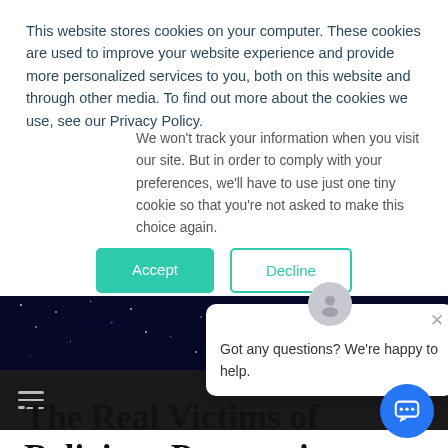This website stores cookies on your computer. These cookies are used to improve your website experience and provide more personalized services to you, both on this website and through other media. To find out more about the cookies we use, see our Privacy Policy.
We won't track your information when you visit our site. But in order to comply with your preferences, we'll have to use just one tiny cookie so that you're not asked to make this choice again.
[Figure (screenshot): Two buttons: 'Accept' (teal filled) and 'Decline' (teal outlined)]
[Figure (screenshot): Dark navy banner background with sparkle/star effect]
[Figure (screenshot): Chat popup widget with avatar icon, close X, and text 'Got any questions? We're happy to help.']
[Figure (screenshot): Dark navigation bar with hamburger menu icon]
[Figure (screenshot): Blue circular chat button in bottom right corner]
The Real Victims of Religious Persecution